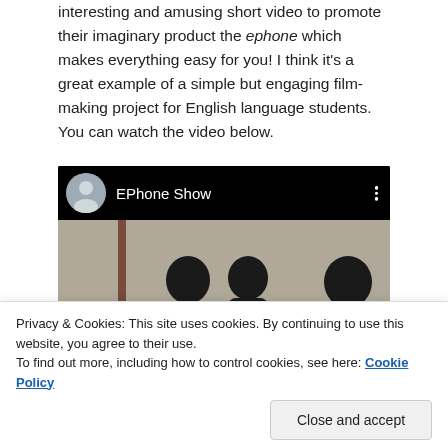interesting and amusing short video to promote their imaginary product the ephone which makes everything easy for you! I think it's a great example of a simple but engaging film-making project for English language students. You can watch the video below.
[Figure (screenshot): A YouTube-style video embed showing 'EPhone Show' channel with a thumbnail of students in a classroom or hallway setting.]
Privacy & Cookies: This site uses cookies. By continuing to use this website, you agree to their use.
To find out more, including how to control cookies, see here: Cookie Policy
Close and accept